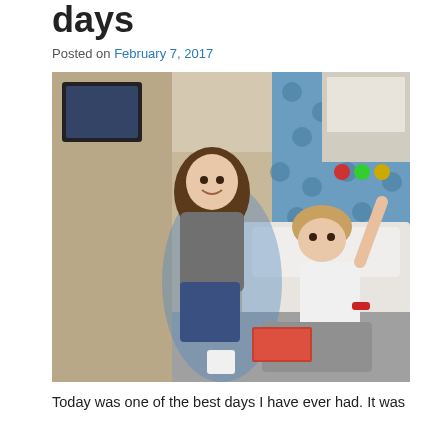days
Posted on February 7, 2017
[Figure (photo): A woman with long curly hair sitting beside a child in a hospital bed. The child is in a white t-shirt and holding something. Hospital equipment and blue polka-dot curtains are visible in the background.]
Today was one of the best days I have ever had. It was